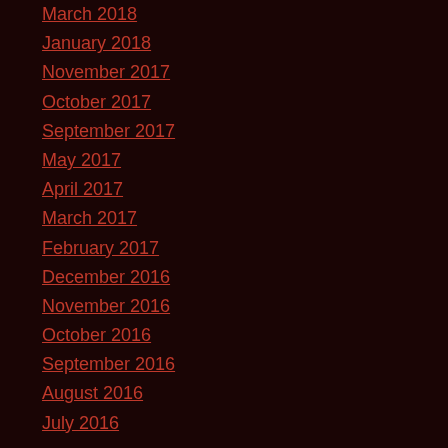March 2018
January 2018
November 2017
October 2017
September 2017
May 2017
April 2017
March 2017
February 2017
December 2016
November 2016
October 2016
September 2016
August 2016
July 2016